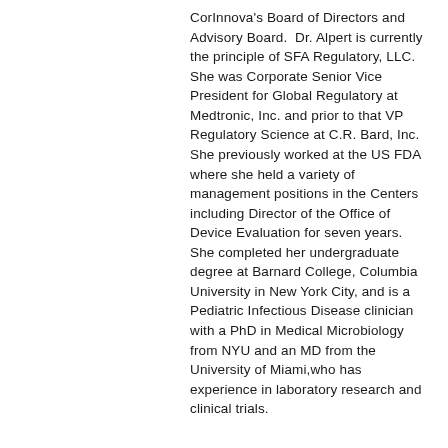CorInnova's Board of Directors and Advisory Board.  Dr. Alpert is currently the principle of SFA Regulatory, LLC.  She was Corporate Senior Vice President for Global Regulatory at Medtronic, Inc. and prior to that VP Regulatory Science at C.R. Bard, Inc. She previously worked at the US FDA where she held a variety of management positions in the Centers including Director of the Office of Device Evaluation for seven years. She completed her undergraduate degree at Barnard College, Columbia University in New York City, and is a Pediatric Infectious Disease clinician with a PhD in Medical Microbiology from NYU and an MD from the University of Miami,who has experience in laboratory research and clinical trials.